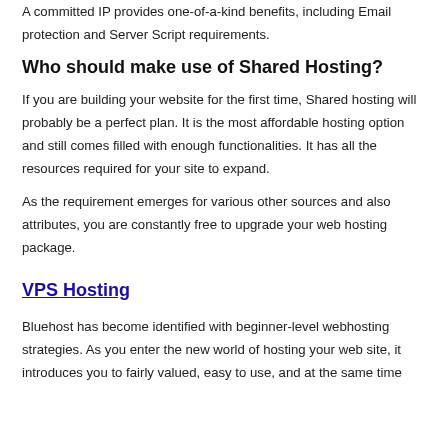A committed IP provides one-of-a-kind benefits, including Email protection and Server Script requirements.
Who should make use of Shared Hosting?
If you are building your website for the first time, Shared hosting will probably be a perfect plan. It is the most affordable hosting option and still comes filled with enough functionalities. It has all the resources required for your site to expand.
As the requirement emerges for various other sources and also attributes, you are constantly free to upgrade your web hosting package.
VPS Hosting
Bluehost has become identified with beginner-level webhosting strategies. As you enter the new world of hosting your web site, it introduces you to fairly valued, easy to use, and at the same time